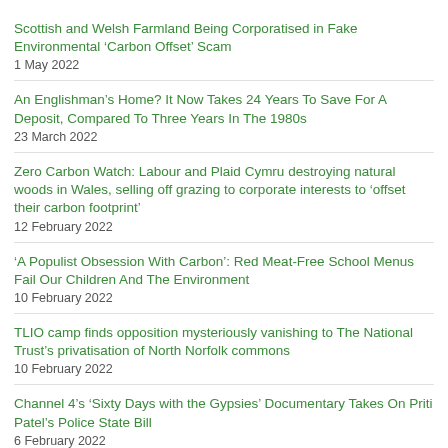Scottish and Welsh Farmland Being Corporatised in Fake Environmental ‘Carbon Offset’ Scam
1 May 2022
An Englishman’s Home? It Now Takes 24 Years To Save For A Deposit, Compared To Three Years In The 1980s
23 March 2022
Zero Carbon Watch: Labour and Plaid Cymru destroying natural woods in Wales, selling off grazing to corporate interests to ‘offset their carbon footprint’
12 February 2022
‘A Populist Obsession With Carbon’: Red Meat-Free School Menus Fail Our Children And The Environment
10 February 2022
TLIO camp finds opposition mysteriously vanishing to The National Trust’s privatisation of North Norfolk commons
10 February 2022
Channel 4’s ‘Sixty Days with the Gypsies’ Documentary Takes On Priti Patel’s Police State Bill
6 February 2022